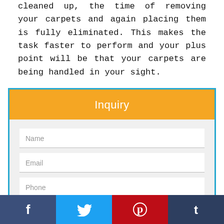cleaned up, the time of removing your carpets and again placing them is fully eliminated. This makes the task faster to perform and your plus point will be that your carpets are being handled in your sight.
Inquiry
Name
Email
Phone
--Select Service--
Facebook | Twitter | Pinterest | Tumblr